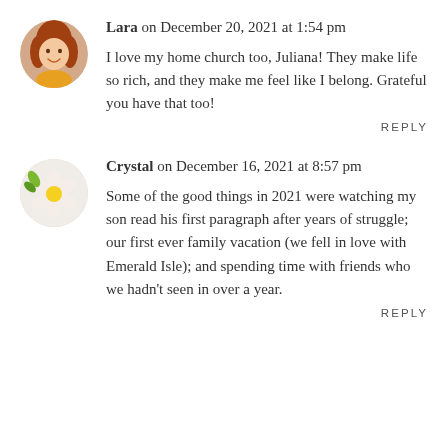Lara on December 20, 2021 at 1:54 pm
I love my home church too, Juliana! They make life so rich, and they make me feel like I belong. Grateful you have that too!
REPLY
Crystal on December 16, 2021 at 8:57 pm
Some of the good things in 2021 were watching my son read his first paragraph after years of struggle; our first ever family vacation (we fell in love with Emerald Isle); and spending time with friends who we hadn't seen in over a year.
REPLY